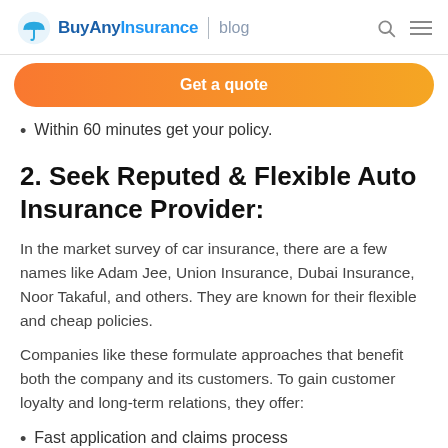BuyAnyInsurance | blog
Get a quote
Within 60 minutes get your policy.
2. Seek Reputed & Flexible Auto Insurance Provider:
In the market survey of car insurance, there are a few names like Adam Jee, Union Insurance, Dubai Insurance, Noor Takaful, and others. They are known for their flexible and cheap policies.
Companies like these formulate approaches that benefit both the company and its customers. To gain customer loyalty and long-term relations, they offer:
Fast application and claims process